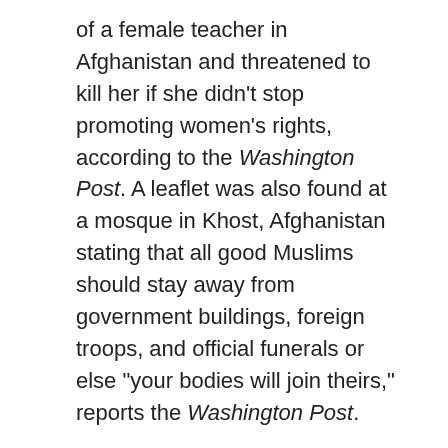of a female teacher in Afghanistan and threatened to kill her if she didn't stop promoting women's rights, according to the Washington Post. A leaflet was also found at a mosque in Khost, Afghanistan stating that all good Muslims should stay away from government buildings, foreign troops, and official funerals or else “your bodies will join theirs,” reports the Washington Post.
Only 2.8 million of the 10.5 million estimated eligible Afghan voters are currently registered, of which approximately one-third are women. The first post-Taliban elections that were to take place in June were postponed until September due to the lack of security. Despite the dire security situation in Afghanistan, peacekeeping forces in Afghanistan